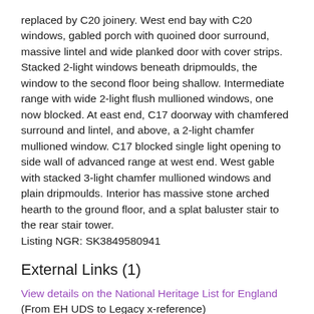replaced by C20 joinery. West end bay with C20 windows, gabled porch with quoined door surround, massive lintel and wide planked door with cover strips. Stacked 2-light windows beneath dripmoulds, the window to the second floor being shallow. Intermediate range with wide 2-light flush mullioned windows, one now blocked. At east end, C17 doorway with chamfered surround and lintel, and above, a 2-light chamfer mullioned window. C17 blocked single light opening to side wall of advanced range at west end. West gable with stacked 3-light chamfer mullioned windows and plain dripmoulds. Interior has massive stone arched hearth to the ground floor, and a splat baluster stair to the rear stair tower. Listing NGR: SK3849580941
External Links (1)
View details on the National Heritage List for England (From EH UDS to Legacy x-reference)
Sources (0)